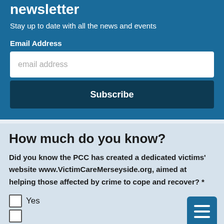newsletter
Stay up to date with all the news and events
Email Address
email address
Subscribe
How much do you know?
Did you know the PCC has created a dedicated victims' website www.VictimCareMerseyside.org, aimed at helping those affected by crime to cope and recover? *
Yes